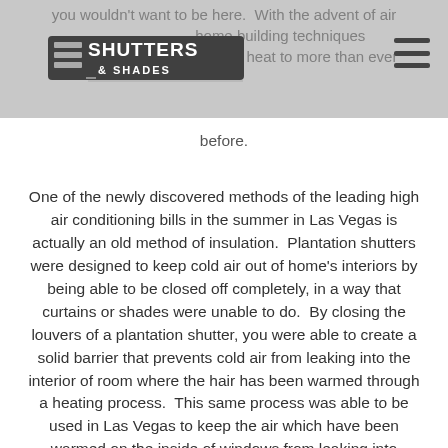[Figure (logo): Shutters & Shades logo with stylized text and shutter graphic]
you wouldn't want to be here. With the advent of air conditioning and home building techniques came the ability to attend the heat to more than ever before.
One of the newly discovered methods of the leading high air conditioning bills in the summer in Las Vegas is actually an old method of insulation. Plantation shutters were designed to keep cold air out of home's interiors by being able to be closed off completely, in a way that curtains or shades were unable to do. By closing the louvers of a plantation shutter, you were able to create a solid barrier that prevents cold air from leaking into the interior of room where the hair has been warmed through a heating process. This same process was able to be used in Las Vegas to keep the air which have been warmed on the inside of windows from leaking into cooler space of a room. The shape and positioning